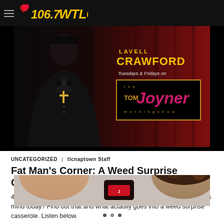106.7 WTLC
[Figure (photo): Banner advertisement for Lavell Crawford appearing on The Tom Joyner Morning Show, Tuesdays & Fridays. Shows Lavell Crawford in a tuxedo with bow tie and cross necklace against a red curtain backdrop. Text reads: LAVELL CRAWFORD, Tuesdays & Fridays on, the Tom Joyner Morning Show]
UNCATEGORIZED | tlcnaptown Staff
Fat Man's Corner: A Weed Surprise Casserole
4/14/17- What empty stomach thought does Lavell Crawford have on his mind today? Find out that and what actaully goes into a weed surprise casserole. Listen below.
[Figure (photo): Partial view of two people, left side shows a bald head and right side shows curly hair, with a dark object between them]